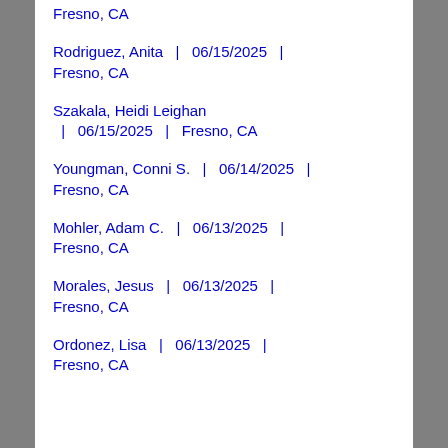Fresno, CA
Rodriguez, Anita  |  06/15/2025  |  Fresno, CA
Szakala, Heidi Leighan  |  06/15/2025  |  Fresno, CA
Youngman, Conni S.  |  06/14/2025  |  Fresno, CA
Mohler, Adam C.  |  06/13/2025  |  Fresno, CA
Morales, Jesus  |  06/13/2025  |  Fresno, CA
Ordonez, Lisa  |  06/13/2025  |  Fresno, CA